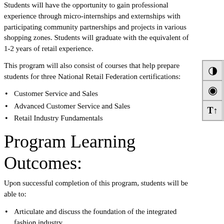Students will have the opportunity to gain professional experience through micro-internships and externships with participating community partnerships and projects in various shopping zones. Students will graduate with the equivalent of 1-2 years of retail experience.
This program will also consist of courses that help prepare students for three National Retail Federation certifications:
Customer Service and Sales
Advanced Customer Service and Sales
Retail Industry Fundamentals
Program Learning Outcomes:
Upon successful completion of this program, students will be able to:
Articulate and discuss the foundation of the integrated fashion industry.